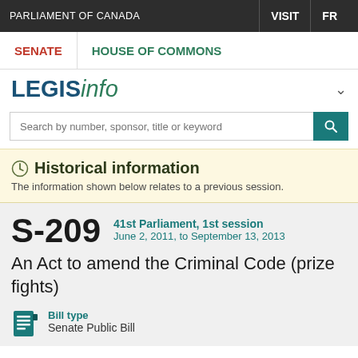PARLIAMENT OF CANADA | VISIT | FR
SENATE | HOUSE OF COMMONS
LEGISinfo
Search by number, sponsor, title or keyword
Historical information
The information shown below relates to a previous session.
S-209 41st Parliament, 1st session June 2, 2011, to September 13, 2013
An Act to amend the Criminal Code (prize fights)
Bill type
Senate Public Bill